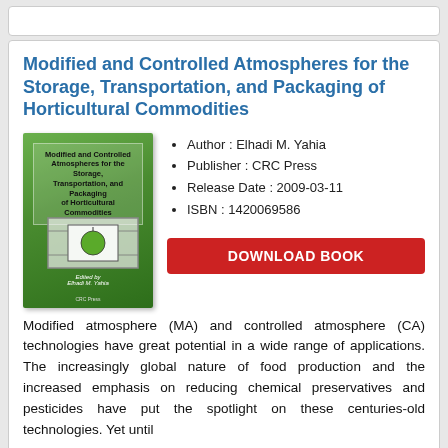Modified and Controlled Atmospheres for the Storage, Transportation, and Packaging of Horticultural Commodities
[Figure (illustration): Book cover showing green background with title text and a diagram of a storage chamber with an apple, authored by Elhadi M. Yahia, published by CRC Press]
Author : Elhadi M. Yahia
Publisher : CRC Press
Release Date : 2009-03-11
ISBN : 1420069586
DOWNLOAD BOOK
Modified atmosphere (MA) and controlled atmosphere (CA) technologies have great potential in a wide range of applications. The increasingly global nature of food production and the increased emphasis on reducing chemical preservatives and pesticides have put the spotlight on these centuries-old technologies. Yet until